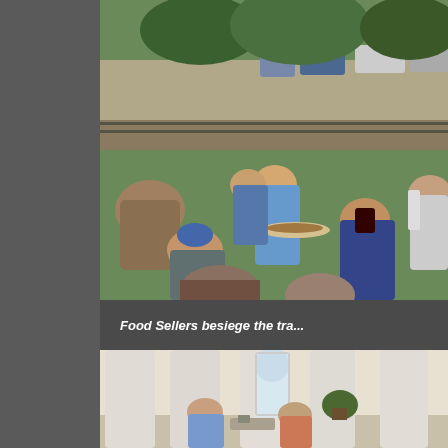[Figure (photo): Outdoor scene near railway tracks showing food sellers and buyers. Multiple people visible, women holding trays of food, cars parked in background near green trees.]
Food Sellers besiege the tra...
[Figure (photo): Interior of a large hall or station building with white classical columns and an arched window. Two elderly women appear to be exchanging something at a counter or barrier. Plants visible in background.]